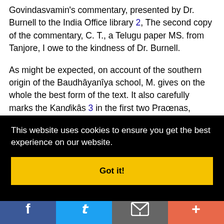Govindasvamin's commentary, presented by Dr. Burnell to the India Office library 2, The second copy of the commentary, C. T., a Telugu paper MS. from Tanjore, I owe to the kindness of Dr. Burnell.
As might be expected, on account of the southern origin of the Baudhâyanîya school, M. gives on the whole the best form of the text. It also carefully marks the Kandikâs 3 in the first two Praœnas, ignoring the Adhyâyas altogether, and [words cut off]
This website uses cookies to ensure you get the best experience on our website.
Got it!